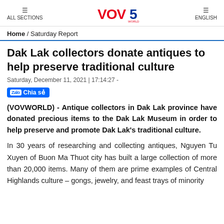ALL SECTIONS  VOV5 WORLD  ENGLISH
Home / Saturday Report
Dak Lak collectors donate antiques to help preserve traditional culture
Saturday, December 11, 2021 | 17:14:27 -
Zalo Chia sẻ
(VOVWORLD) - Antique collectors in Dak Lak province have donated precious items to the Dak Lak Museum in order to help preserve and promote Dak Lak's traditional culture.
In 30 years of researching and collecting antiques, Nguyen Tu Xuyen of Buon Ma Thuot city has built a large collection of more than 20,000 items. Many of them are prime examples of Central Highlands culture – gongs, jewelry, and feast trays of minority